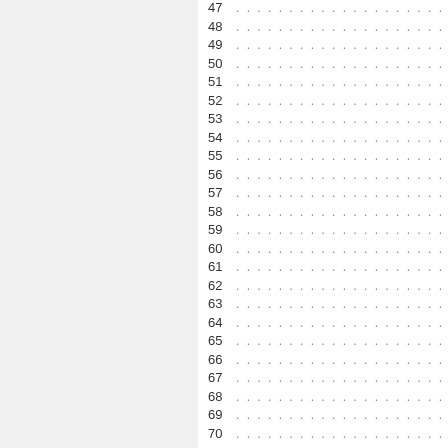47 .......................................
48 .......................................
49 .......................................
50 .......................................
51 .......................................
52 .......................................
53 .......................................
54 .......................................
55 .......................................
56 .......................................
57 .......................................
58 .......................................
59 .......................................
60 .......................................
61 .......................................
62 .......................................
63 .......................................
64 .......................................
65 .......................................
66 .......................................
67 .......................................
68 .......................................
69 .......................................
70 .......................................